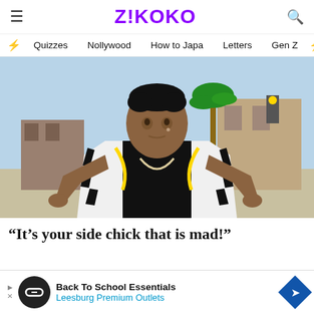Z!KOKO
Quizzes  Nollywood  How to Japa  Letters  Gen Z
[Figure (photo): Young man in a zebra-print jacket with gold chain design, gesturing with hands spread wide, photographed outdoors against a blurred urban background with palm trees.]
“It’s your side chick that is mad!”
Back To School Essentials
Leesburg Premium Outlets